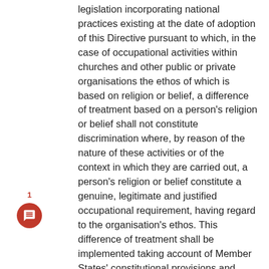legislation incorporating national practices existing at the date of adoption of this Directive pursuant to which, in the case of occupational activities within churches and other public or private organisations the ethos of which is based on religion or belief, a difference of treatment based on a person's religion or belief shall not constitute discrimination where, by reason of the nature of these activities or of the context in which they are carried out, a person's religion or belief constitute a genuine, legitimate and justified occupational requirement, having regard to the organisation's ethos. This difference of treatment shall be implemented taking account of Member States' constitutional provisions and principles, as well as the general principles of Community law, and should not justify discrimination on another ground.
Provided that its provisions are otherwise complied with, this Directive shall thus not prejudice the right of churches and other public or private organisations, the ethos of which is based on religion or belief, acting in conformity with national constitutions and laws, to require individuals working for them to act in good faith and with loyalty to the organisation's